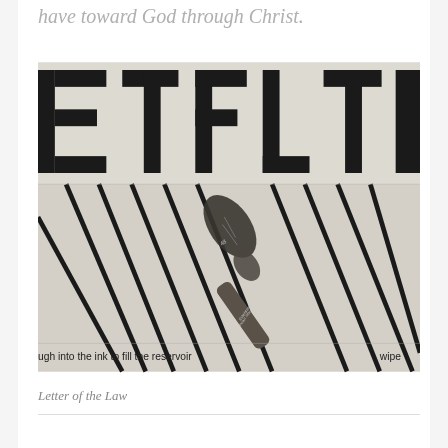have toward God through Christ.
[Figure (photo): Close-up photograph of a vintage pen nib resting on a penmanship practice sheet showing large block letters (E, T, F, L, T, L) and diagonal stroke guidelines. The number 7 and 9 are visible, and text reads 'ugh into the ink to fill the reservoir' and 'wipe'. The pen nib is labeled 'Esterbrook' or similar brand.]
Letter of the Law